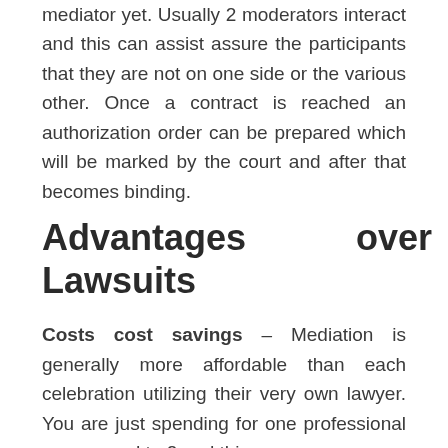mediator yet. Usually 2 moderators interact and this can assist assure the participants that they are not on one side or the various other. Once a contract is reached an authorization order can be prepared which will be marked by the court and after that becomes binding.
Advantages over Lawsuits
Costs cost savings – Mediation is generally more affordable than each celebration utilizing their very own lawyer. You are just spending for one professional as opposed to 2 and this